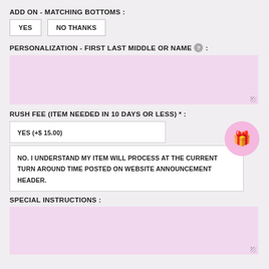ADD ON - MATCHING BOTTOMS :
YES
NO THANKS
PERSONALIZATION - FIRST LAST MIDDLE OR NAME :
[Figure (other): Pink text input area for personalization]
RUSH FEE (ITEM NEEDED IN 10 DAYS OR LESS) * :
YES (+$ 15.00)
NO. I UNDERSTAND MY ITEM WILL PROCESS AT THE CURRENT TURN AROUND TIME POSTED ON WEBSITE ANNOUNCEMENT HEADER.
SPECIAL INSTRUCTIONS :
[Figure (other): Pink text input area for special instructions]